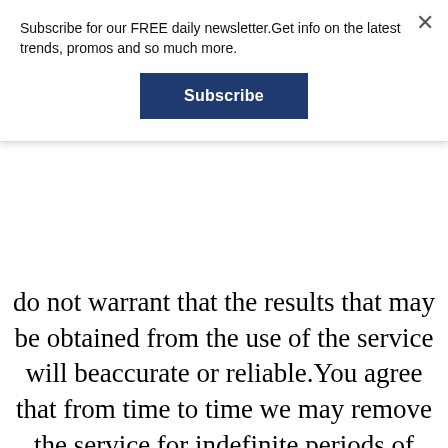Subscribe for our FREE daily newsletter.Get info on the latest trends, promos and so much more.
Subscribe
do not warrant that the results that may be obtained from the use of the service will beaccurate or reliable.You agree that from time to time we may remove the service for indefinite periods of time orcancel the service at any time, without notice to you.You expressly agree that your use of, or inability to use, the service is at your sole risk. Theservice and all products and services delivered to you through the service are (except asexpressly stated by us) provided 'as is' and 'as available'